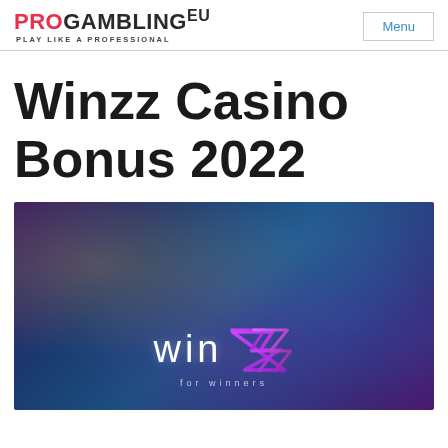PROGAMBLING EU | Menu
Winzz Casino Bonus 2022
[Figure (photo): Winzz Casino hero banner showing the Winzz logo with 'win' in white text and stylized purple/pink Z letters, set against a blurred dark blue and purple casino background with 'for winners' tagline.]